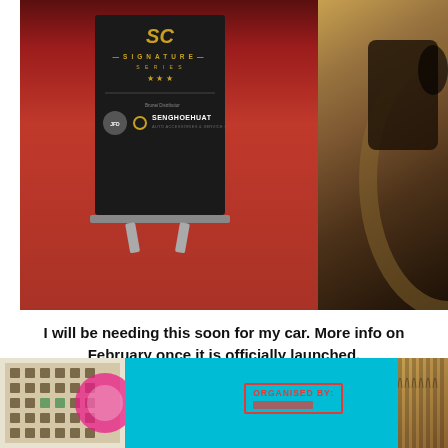[Figure (photo): Two-part photo: left side shows a black roll-up banner stand with 'Signature Series' branding and 'Senghoehuat' distributor logo on a red carpet floor; right side shows a sepia-toned image of a car on a road/track.]
I will be needing this soon for my car. More info on February once it is officially launched.
[Figure (photo): Partial bottom photo showing a building illustration on the left, a cyan/turquoise banner in the center with an 'ORGANISED BY:' text box outlined in red, and an archway pattern on the right.]